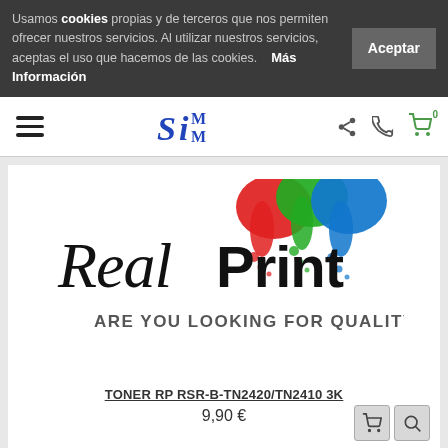Usamos cookies propias y de terceros que nos permiten ofrecer nuestros servicios. Al utilizar nuestros servicios, aceptas el uso que hacemos de las cookies.   Más Información
SiMM — navigation header with menu, logo, share, phone, and cart icons
[Figure (logo): Real Print logo with colorful ink splatter blobs (red, green, blue) above text 'ARE YOU LOOKING FOR QUALITY?']
TONER RP RSR-B-TN2420/TN2410 3K
9,90 €